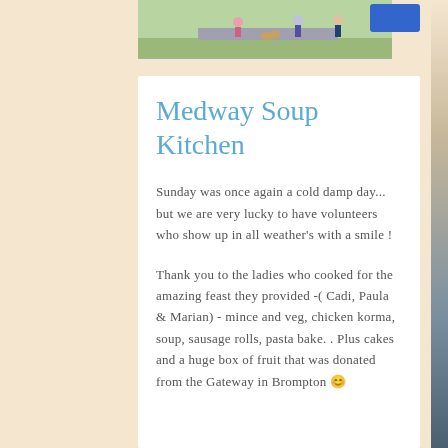[Figure (illustration): Cartoon illustration of people outdoors, partially visible at top of page]
Medway Soup Kitchen
Sunday was once again a cold damp day... but we are very lucky to have volunteers who show up in all weather's with a smile !
Thank you to the ladies who cooked for the amazing feast they provided -( Cadi, Paula & Marian) - mince and veg, chicken korma, soup, sausage rolls, pasta bake. . Plus cakes and a huge box of fruit that was donated from the Gateway in Brompton 😊